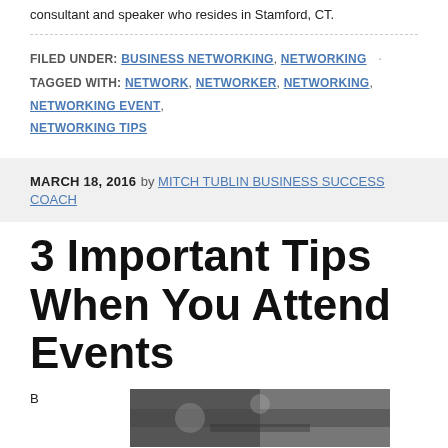consultant and speaker who resides in Stamford, CT.
FILED UNDER: BUSINESS NETWORKING, NETWORKING · TAGGED WITH: NETWORK, NETWORKER, NETWORKING, NETWORKING EVENT, NETWORKING TIPS
MARCH 18, 2016 by MITCH TUBLIN BUSINESS SUCCESS COACH
3 Important Tips When You Attend Events
B